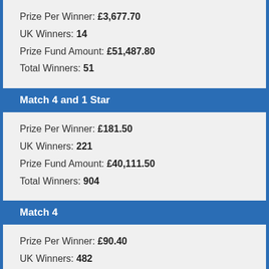Prize Per Winner: £3,677.70
UK Winners: 14
Prize Fund Amount: £51,487.80
Total Winners: 51
Match 4 and 1 Star
Prize Per Winner: £181.50
UK Winners: 221
Prize Fund Amount: £40,111.50
Total Winners: 904
Match 4
Prize Per Winner: £90.40
UK Winners: 482
Prize Fund Amount: £43,572.80
Total Winners: 1,814